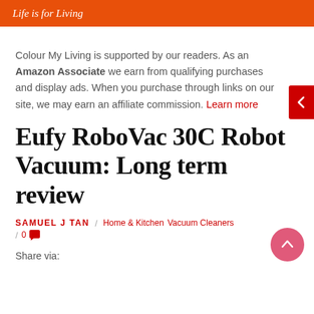Life is for Living
Colour My Living is supported by our readers. As an Amazon Associate we earn from qualifying purchases and display ads. When you purchase through links on our site, we may earn an affiliate commission. Learn more
Eufy RoboVac 30C Robot Vacuum: Long term review
SAMUEL J TAN / Home & Kitchen  Vacuum Cleaners / 0
Share via: